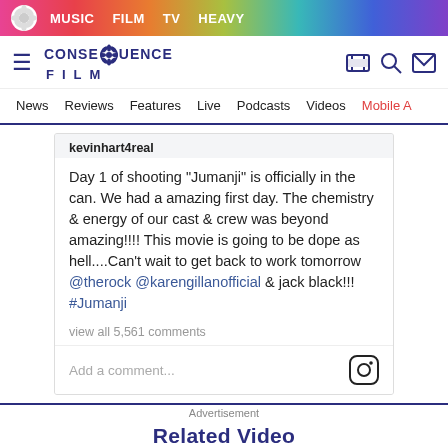MUSIC  FILM  TV  HEAVY
[Figure (logo): Consequence Film logo with gear/daisy icon]
News  Reviews  Features  Live  Podcasts  Videos  Mobile A
kevinhart4real
Day 1 of shooting "Jumanji" is officially in the can. We had a amazing first day. The chemistry & energy of our cast & crew was beyond amazing!!!! This movie is going to be dope as hell....Can't wait to get back to work tomorrow @therock @karengillanofficial & jack black!!! #Jumanji
view all 5,561 comments
Add a comment...
Advertisement
Related Video